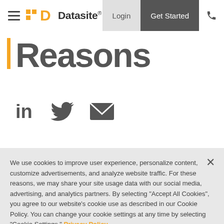Datasite — Login | Get Started
Reasons
[Figure (other): Social share icons: LinkedIn, Twitter, Email]
We use cookies to improve user experience, personalize content, customize advertisements, and analyze website traffic. For these reasons, we may share your site usage data with our social media, advertising, and analytics partners. By selecting "Accept All Cookies", you agree to our website's cookie use as described in our Cookie Policy. You can change your cookie settings at any time by selecting "Cookie Settings." Privacy Policy
Cookies Settings | Accept All Cookies